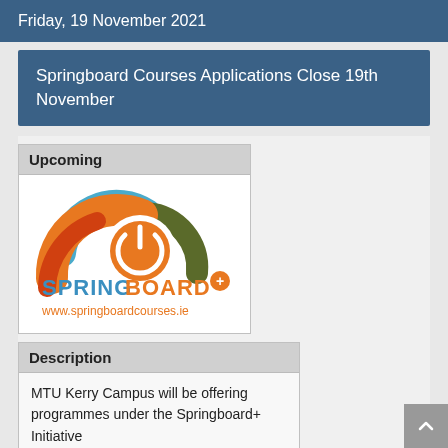Friday, 19 November 2021
Springboard Courses Applications Close 19th November
Upcoming
[Figure (logo): Springboard+ logo with power button icon and www.springboardcourses.ie URL]
Description
MTU Kerry Campus will be offering programmes under the Springboard+ Initiative